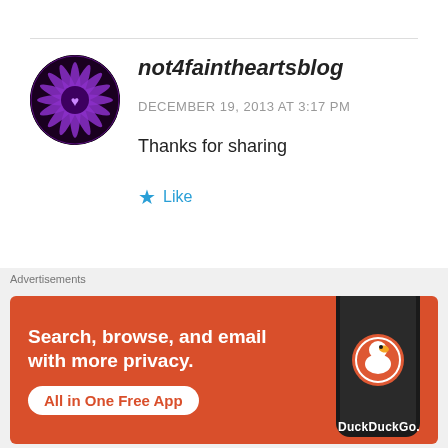[Figure (illustration): Circular avatar with purple and black decorative pattern and a heart symbol in center]
not4faintheartsblog
DECEMBER 19, 2013 AT 3:17 PM
Thanks for sharing
★ Like
[Figure (photo): Partial circular avatar of second commenter, cropped at bottom of page]
Advertisements
[Figure (screenshot): DuckDuckGo advertisement banner with orange background. Text reads: Search, browse, and email with more privacy. All in One Free App. Shows a smartphone with DuckDuckGo branding.]